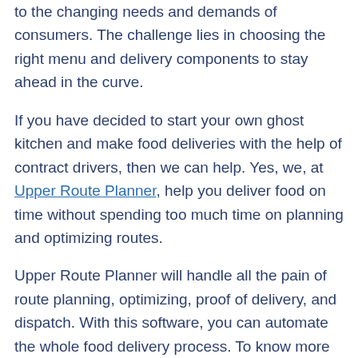to the changing needs and demands of consumers. The challenge lies in choosing the right menu and delivery components to stay ahead in the curve.
If you have decided to start your own ghost kitchen and make food deliveries with the help of contract drivers, then we can help. Yes, we, at Upper Route Planner, help you deliver food on time without spending too much time on planning and optimizing routes.
Upper Route Planner will handle all the pain of route planning, optimizing, proof of delivery, and dispatch. With this software, you can automate the whole food delivery process. To know more about the features and functionalities of this software, you can start a